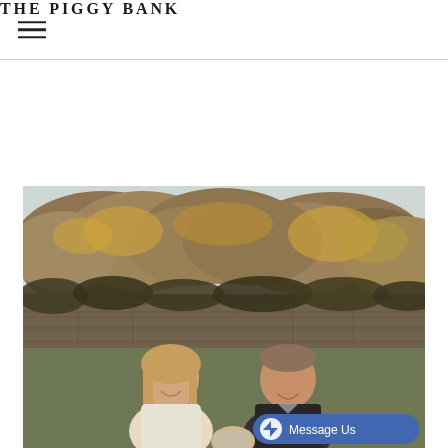THE PIGGY BANK
[Figure (photo): Outdoor photo of a smiling couple (woman with long blonde hair, man with short hair) standing in front of trees with autumn foliage and a stone wall. A child is partially visible in the foreground. A Facebook Messenger 'Message Us' button appears in the bottom right corner of the photo.]